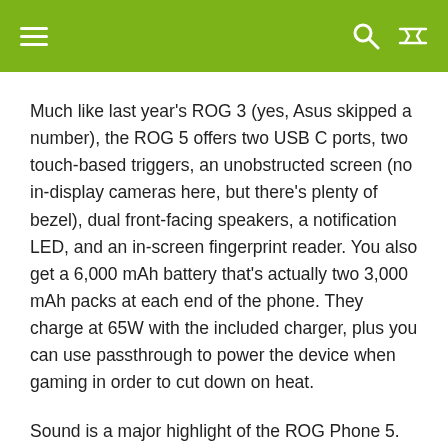☰  🔍 ⇄
Much like last year's ROG 3 (yes, Asus skipped a number), the ROG 5 offers two USB C ports, two touch-based triggers, an unobstructed screen (no in-display cameras here, but there's plenty of bezel), dual front-facing speakers, a notification LED, and an in-screen fingerprint reader. You also get a 6,000 mAh battery that's actually two 3,000 mAh packs at each end of the phone. They charge at 65W with the included charger, plus you can use passthrough to power the device when gaming in order to cut down on heat.
Sound is a major highlight of the ROG Phone 5. Not only do we get dual front-facing speakers, the device includes a DAC that supports hi-res audio, and there's some fancy software built-in that can tune the sound of the front-facing speakers to ensure they provide the